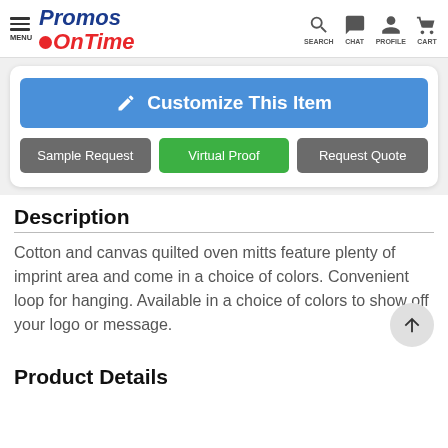MENU | Promos OnTime | SEARCH CHAT PROFILE CART
[Figure (screenshot): Blue 'Customize This Item' button with edit icon, plus 'Sample Request' (gray), 'Virtual Proof' (green), and 'Request Quote' (gray) buttons below]
Description
Cotton and canvas quilted oven mitts feature plenty of imprint area and come in a choice of colors. Convenient loop for hanging. Available in a choice of colors to show off your logo or message.
Product Details